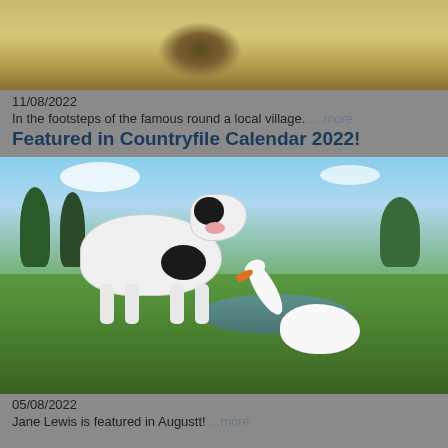[Figure (photo): Partial photo of a hay bale in a dry field, cropped at top of page]
11/08/2022
In the footsteps of the famous round a local village. ....more
Featured in Countryfile Calendar 2022!
[Figure (photo): A black and white calf facing a white swan near a pond, with trees and blue sky in the background]
05/08/2022
Jane Lewis is featured in Augustt! ...more